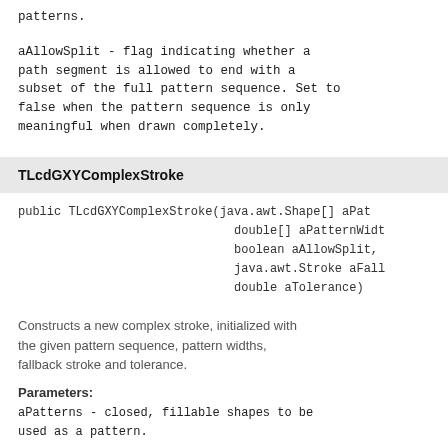patterns.
aAllowSplit - flag indicating whether a path segment is allowed to end with a subset of the full pattern sequence. Set to false when the pattern sequence is only meaningful when drawn completely.
TLcdGXYComplexStroke
public TLcdGXYComplexStroke(java.awt.Shape[] aPat
                              double[] aPatternWidt
                              boolean aAllowSplit,
                              java.awt.Stroke aFall
                              double aTolerance)
Constructs a new complex stroke, initialized with the given pattern sequence, pattern widths, fallback stroke and tolerance.
Parameters:
aPatterns - closed, fillable shapes to be used as a pattern.